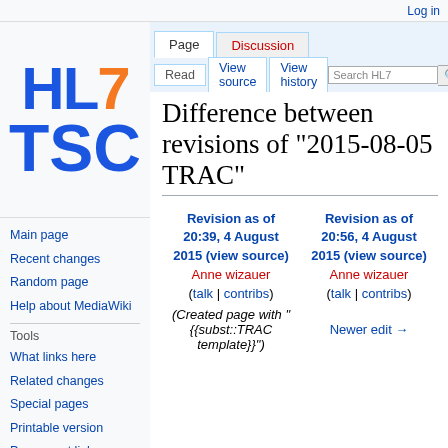Log in
[Figure (logo): HL7 TSC wiki logo with blue HL7 text and orange 7, blue TSC text]
Page | Discussion | Read | View source | View history | Search HL7...
Difference between revisions of "2015-08-05 TRAC"
Main page
Recent changes
Random page
Help about MediaWiki
Tools
What links here
Related changes
Special pages
Printable version
Permanent link
Page information
| Revision as of 20:39, 4 August 2015 (view source) | Revision as of 20:56, 4 August 2015 (view source) |
| --- | --- |
| Anne wizauer | Anne wizauer |
| (talk | contribs) | (talk | contribs) |
| (Created page with "{{subst::TRAC template}}") | Newer edit → |